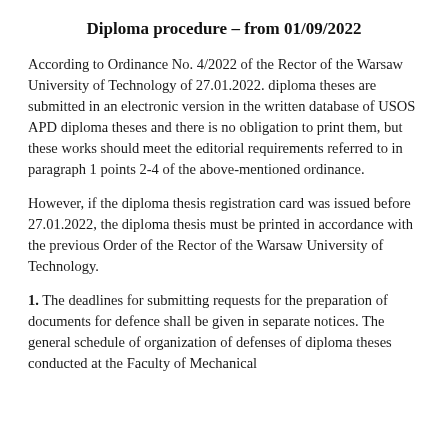Diploma procedure – from 01/09/2022
According to Ordinance No. 4/2022 of the Rector of the Warsaw University of Technology of 27.01.2022. diploma theses are submitted in an electronic version in the written database of USOS APD diploma theses and there is no obligation to print them, but these works should meet the editorial requirements referred to in paragraph 1 points 2-4 of the above-mentioned ordinance.
However, if the diploma thesis registration card was issued before 27.01.2022, the diploma thesis must be printed in accordance with the previous Order of the Rector of the Warsaw University of Technology.
1. The deadlines for submitting requests for the preparation of documents for defence shall be given in separate notices. The general schedule of organization of defenses of diploma theses conducted at the Faculty of Mechanical...